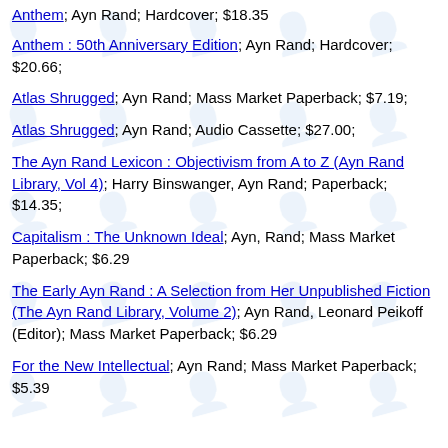Anthem : 50th Anniversary Edition; Ayn Rand; Hardcover; $20.66;
Atlas Shrugged; Ayn Rand; Mass Market Paperback; $7.19;
Atlas Shrugged; Ayn Rand; Audio Cassette; $27.00;
The Ayn Rand Lexicon : Objectivism from A to Z (Ayn Rand Library, Vol 4); Harry Binswanger, Ayn Rand; Paperback; $14.35;
Capitalism : The Unknown Ideal; Ayn, Rand; Mass Market Paperback; $6.29
The Early Ayn Rand : A Selection from Her Unpublished Fiction (The Ayn Rand Library, Volume 2); Ayn Rand, Leonard Peikoff (Editor); Mass Market Paperback; $6.29
For the New Intellectual; Ayn Rand; Mass Market Paperback; $5.39